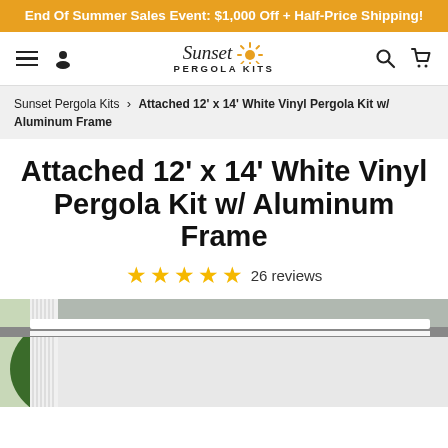End Of Summer Sales Event: $1,000 Off + Half-Price Shipping!
[Figure (logo): Sunset Pergola Kits logo with sun icon, hamburger menu, person icon, search icon, and cart icon in navigation bar]
Sunset Pergola Kits > Attached 12' x 14' White Vinyl Pergola Kit w/ Aluminum Frame
Attached 12' x 14' White Vinyl Pergola Kit w/ Aluminum Frame
★★★★★ 26 reviews
[Figure (photo): White vinyl pergola kit installed on a house, showing columns and roofline against green trees]